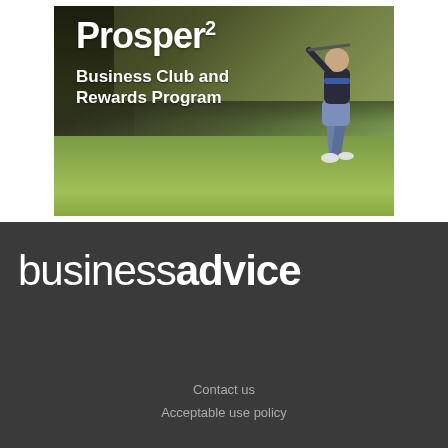[Figure (photo): Advertisement image for Prosper2 Business Club and Rewards Program showing a golfer mid-swing on a golf course with trees in the background. White text overlay reads 'Prosper2 Business Club and Rewards Program'.]
[Figure (logo): Business Advice logo in white text on dark grey background. Text reads 'businessadvice' where 'advice' is bold.]
Contact us
Acceptable use policy